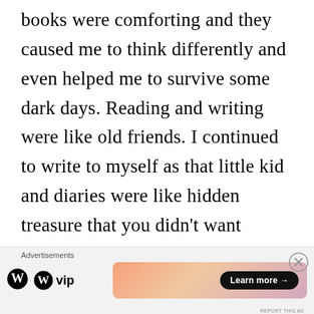books were comforting and they caused me to think differently and even helped me to survive some dark days. Reading and writing were like old friends. I continued to write to myself as that little kid and diaries were like hidden treasure that you didn't want anyone else to see. You could write in private and vent and say whatever you wanted
Advertisements | WP VIP | Learn more →